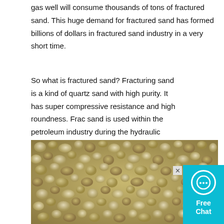gas well will consume thousands of tons of fractured sand. This huge demand for fractured sand has formed billions of dollars in fractured sand industry in a very short time.
So what is fractured sand? Fracturing sand is a kind of quartz sand with high purity. It has super compressive resistance and high roundness. Frac sand is used within the petroleum industry during the hydraulic fracturing (fracking) of rock or shale deposits. Once the rock is fractured, frac sand is used as a proppant to prop open the fracs allowing oil, natural gas or natural gas liquids to flow from the rock to the wells.
[Figure (photo): Close-up macro photograph of frac sand (quartz sand grains), showing rounded, semi-transparent yellowish-white granules of varying sizes packed together.]